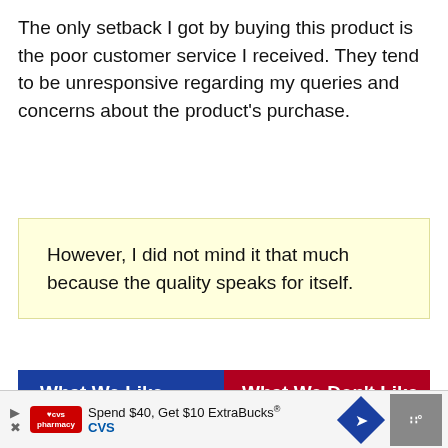The only setback I got by buying this product is the poor customer service I received. They tend to be unresponsive regarding my queries and concerns about the product's purchase.
However, I did not mind it that much because the quality speaks for itself.
| What We Like | What We Don't Like |
| --- | --- |
Guarantees good grip with its
The company may be unresponsive to
[Figure (screenshot): CVS Pharmacy advertisement banner: Spend $40, Get $10 ExtraBucks]